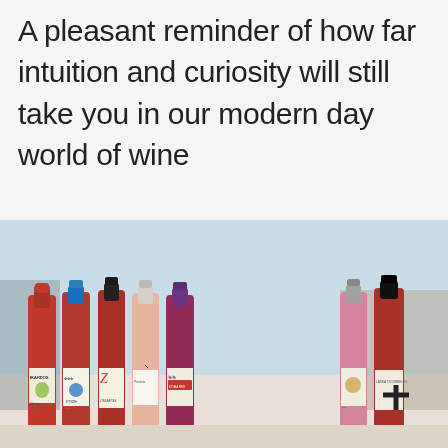A pleasant reminder of how far intuition and curiosity will still take you in our modern day world of wine
[Figure (photo): A row of seven wine bottles with red and rosé wines, various labels including Ikardos, Poze, Zinsartas, and others, photographed outdoors on a white surface against a light blue sky background.]